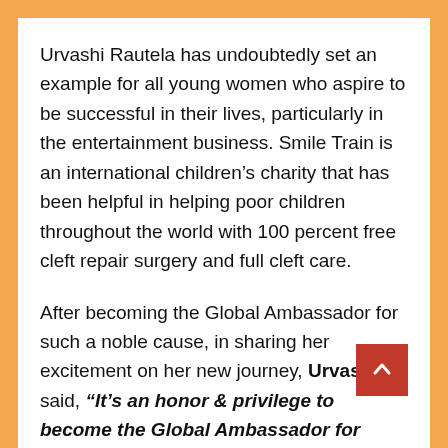Urvashi Rautela has undoubtedly set an example for all young women who aspire to be successful in their lives, particularly in the entertainment business. Smile Train is an international children's charity that has been helpful in helping poor children throughout the world with 100 percent free cleft repair surgery and full cleft care.
After becoming the Global Ambassador for such a noble cause, in sharing her excitement on her new journey, Urvashi said, "It's an honor & privilege to become the Global Ambassador for Smile Train along with Kylie Jenner & Aishwarya Rai and help change the world one smile at a time. Every three minutes, somewhere in the world, another baby is born ...